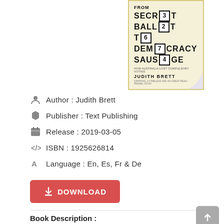[Figure (illustration): Book cover of 'From Secret Ballot to Democracy Sausage' by Judith Brett, featuring large bold text with ballot box icons replacing letters, yellow border on light background, with a page-curl effect at bottom right]
Author : Judith Brett
Publisher : Text Publishing
Release : 2019-03-05
ISBN : 1925626814
Language : En, Es, Fr & De
[Figure (other): Red download button with download icon and text DOWNLOAD]
Book Description :